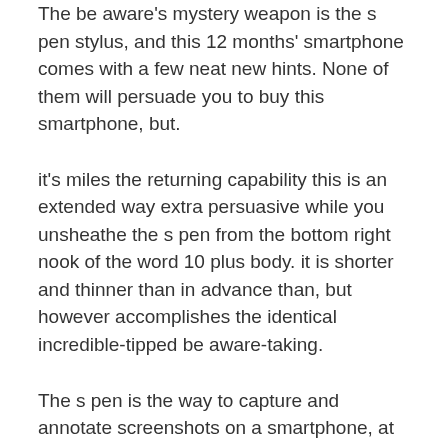The be aware's mystery weapon is the s pen stylus, and this 12 months' smartphone comes with a few neat new hints. None of them will persuade you to buy this smartphone, but.
it's miles the returning capability this is an extended way extra persuasive while you unsheathe the s pen from the bottom right nook of the word 10 plus body. it is shorter and thinner than in advance than, but however accomplishes the identical incredible-tipped be aware-taking.
The s pen is the way to capture and annotate screenshots on a smartphone, at the identical time as the display off memo remains the quickest way to scribble down quick notes as fast as you may pop